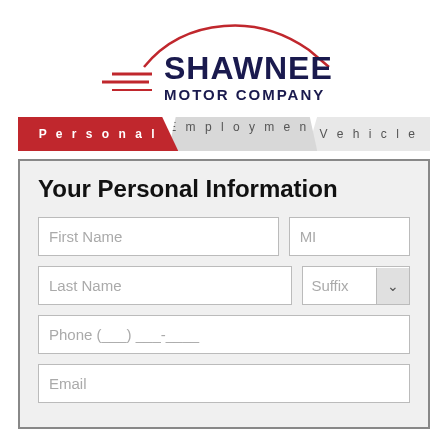[Figure (logo): Shawnee Motor Company logo with red car silhouette outline and red speed lines, dark navy text reading SHAWNEE MOTOR COMPANY]
[Figure (infographic): Navigation tabs: Personal (red, active), Employment (gray), Vehicle (gray)]
Your Personal Information
First Name
MI
Last Name
Suffix
Phone (___) ___-____
Email